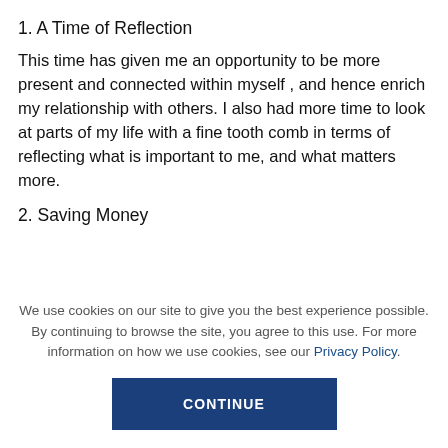1. A Time of Reflection
This time has given me an opportunity to be more present and connected within myself , and hence enrich my relationship with others. I also had more time to look at parts of my life with a fine tooth comb in terms of reflecting what is important to me, and what matters more.
2. Saving Money
We use cookies on our site to give you the best experience possible. By continuing to browse the site, you agree to this use. For more information on how we use cookies, see our Privacy Policy.